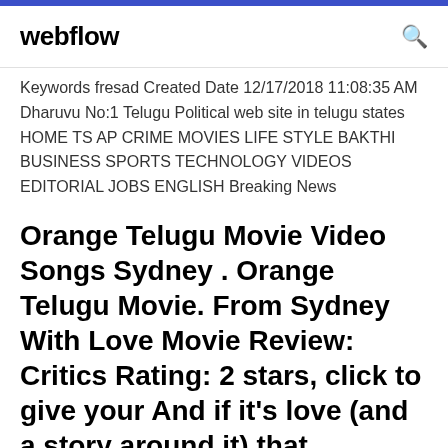webflow
Keywords fresad Created Date 12/17/2018 11:08:35 AM Dharuvu No:1 Telugu Political web site in telugu states HOME TS AP CRIME MOVIES LIFE STYLE BAKTHI BUSINESS SPORTS TECHNOLOGY VIDEOS EDITORIAL JOBS ENGLISH Breaking News
Orange Telugu Movie Video Songs Sydney . Orange Telugu Movie. From Sydney With Love Movie Review: Critics Rating: 2 stars, click to give your And if it's love (and a story around it) that